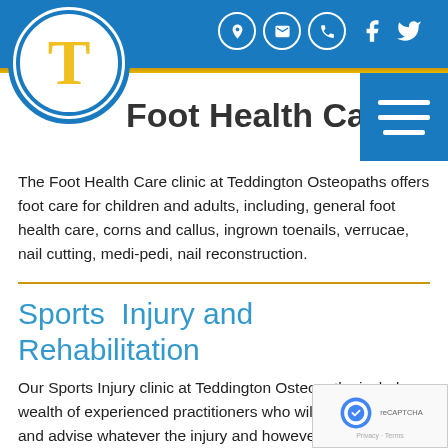[Figure (logo): Teddington Osteopaths logo: white circle with blue border containing yellow letter T, on blue header bar]
Foot Health Care
The Foot Health Care clinic at Teddington Osteopaths offers foot care for children and adults, including, general foot health care, corns and callus, ingrown toenails, verrucae, nail cutting, medi-pedi, nail reconstruction.
Sports Injury and Rehabilitation
Our Sports Injury clinic at Teddington Osteopaths includes a wealth of experienced practitioners who will be able to help and advise whatever the injury and however it was sustained, for the professional